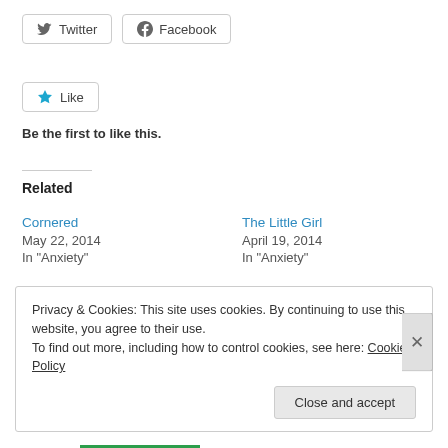[Figure (other): Twitter and Facebook share buttons]
[Figure (other): Like button with star icon]
Be the first to like this.
Related
Cornered
May 22, 2014
In "Anxiety"
The Little Girl
April 19, 2014
In "Anxiety"
No Noise
April 17, 2014
In "Anxiety"
Privacy & Cookies: This site uses cookies. By continuing to use this website, you agree to their use.
To find out more, including how to control cookies, see here: Cookie Policy
Close and accept